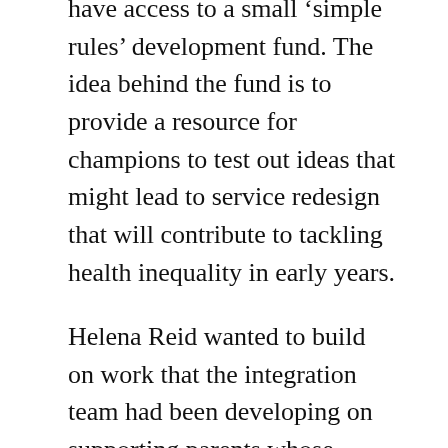have access to a small 'simple rules' development fund. The idea behind the fund is to provide a resource for champions to test out ideas that might lead to service redesign that will contribute to tackling health inequality in early years.
Helena Reid wanted to build on work that the integration team had been developing on supporting parents whose children are in transition from nursery to primary school. Being ready for school and the school being ready for the children that they are to educate is, to my mind, a key area where services can support parents and children to help themselves. There is no doubt that the more a